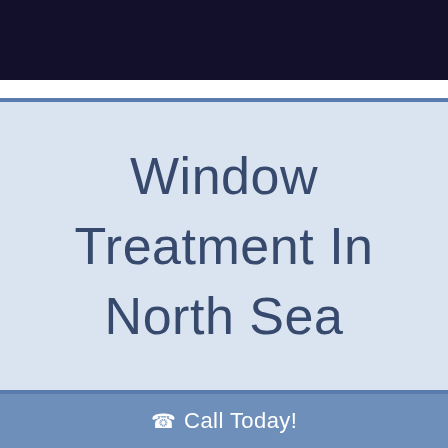Window Treatment In North Sea
Call Today!